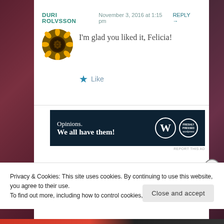DURI ROLVSSON  November 3, 2016 at 1:15 pm  REPLY →
I'm glad you liked it, Felicia!
★ Like
[Figure (illustration): Sunflower avatar image, circular crop]
[Figure (infographic): Dark navy ad banner reading 'Opinions. We all have them!' with WordPress logo and secondary logo]
REPORT THIS AD
Privacy & Cookies: This site uses cookies. By continuing to use this website, you agree to their use.
To find out more, including how to control cookies, see here: Cookie Policy
Close and accept